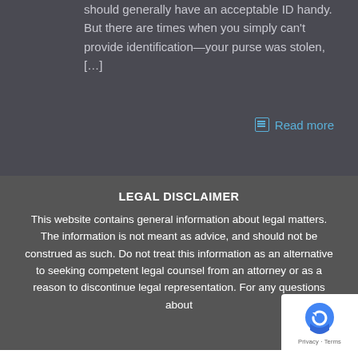should generally have an acceptable ID handy. But there are times when you simply can't provide identification—your purse was stolen, […]
Read more
LEGAL DISCLAIMER
This website contains general information about legal matters. The information is not meant as advice, and should not be construed as such. Do not treat this information as an alternative to seeking competent legal counsel from an attorney or as a reason to discontinue legal representation. For any questions about
[Figure (logo): reCAPTCHA badge with Privacy and Terms text]